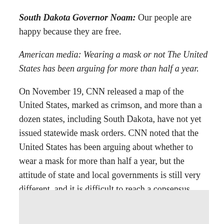South Dakota Governor Noam: Our people are happy because they are free.
American media: Wearing a mask or not The United States has been arguing for more than half a year.
On November 19, CNN released a map of the United States, marked as crimson, and more than a dozen states, including South Dakota, have not yet issued statewide mask orders. CNN noted that the United States has been arguing about whether to wear a mask for more than half a year, but the attitude of state and local governments is still very different, and it is difficult to reach a consensus, which seriously affects the epidemic prevention process.
[Figure (other): Gray box / placeholder image at bottom of page]